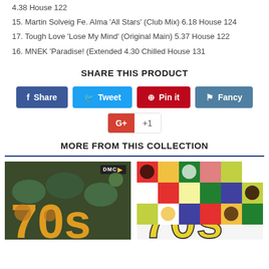4.38 House 122
15. Martin Solveig Fe. Alma 'All Stars' (Club Mix) 6.18 House 124
17. Tough Love 'Lose My Mind' (Original Main) 5.37 House 122
16. MNEK 'Paradise! (Extended 4.30 Chilled House 131
SHARE THIS PRODUCT
Share Tweet Pin it Fancy +1
MORE FROM THIS COLLECTION
[Figure (photo): DMC 70s collection album cover - left]
[Figure (photo): DMC 70s collection album cover - right]